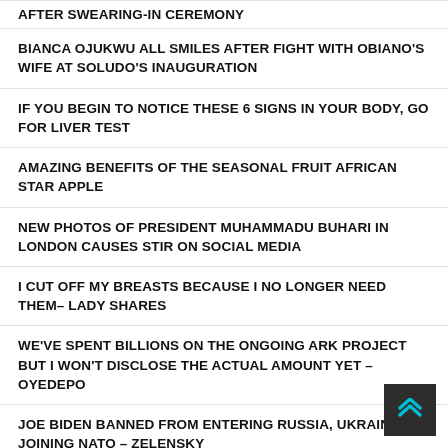AFTER SWEARING-IN CEREMONY
BIANCA OJUKWU ALL SMILES AFTER FIGHT WITH OBIANO'S WIFE AT SOLUDO'S INAUGURATION
IF YOU BEGIN TO NOTICE THESE 6 SIGNS IN YOUR BODY, GO FOR LIVER TEST
AMAZING BENEFITS OF THE SEASONAL FRUIT AFRICAN STAR APPLE
NEW PHOTOS OF PRESIDENT MUHAMMADU BUHARI IN LONDON CAUSES STIR ON SOCIAL MEDIA
I CUT OFF MY BREASTS BECAUSE I NO LONGER NEED THEM– LADY SHARES
WE'VE SPENT BILLIONS ON THE ONGOING ARK PROJECT BUT I WON'T DISCLOSE THE ACTUAL AMOUNT YET – OYEDEPO
JOE BIDEN BANNED FROM ENTERING RUSSIA, UKRAINE IS JOINING NATO – ZELENSKY